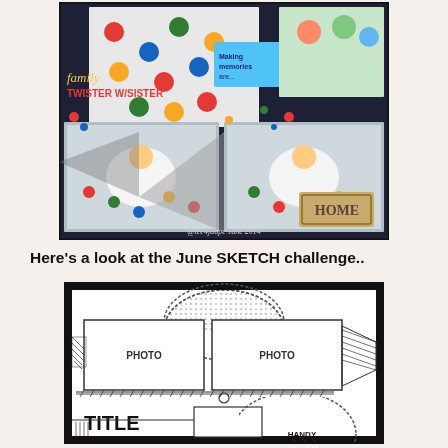[Figure (photo): A colorful scrapbook layout page featuring family photos playing Twister, with text 'family TWISTER W/SISTER', 'Making Memories', and 'HOME' label. Dark navy background with scattered embellishments. Caption reads '@tee4jaupe June 2014'.]
Here's a look at the June SKETCH challenge..
[Figure (schematic): A scrapbook layout sketch/template showing: a dotted half-circle at top, two photo placeholders labeled PHOTO PHOTO side by side, diagonal striped triangles on sides, a small circle in middle, a TITLE text area bottom left, a small photo box, a dotted half-circle bottom right, and HANDY label at bottom right. All in black and white line art on white background with black border.]